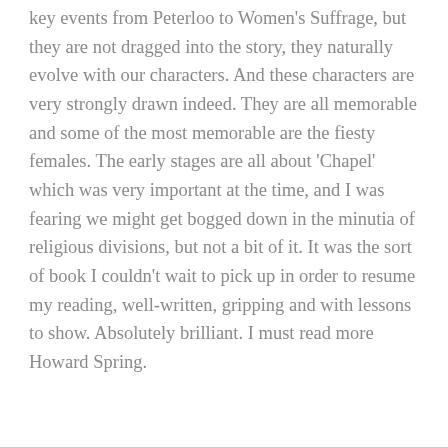key events from Peterloo to Women's Suffrage, but they are not dragged into the story, they naturally evolve with our characters. And these characters are very strongly drawn indeed. They are all memorable and some of the most memorable are the fiesty females. The early stages are all about 'Chapel' which was very important at the time, and I was fearing we might get bogged down in the minutia of religious divisions, but not a bit of it. It was the sort of book I couldn't wait to pick up in order to resume my reading, well-written, gripping and with lessons to show. Absolutely brilliant. I must read more Howard Spring.